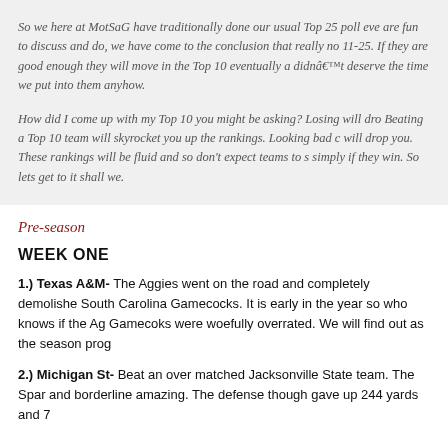So we here at MotSaG have traditionally done our usual Top 25 poll eve are fun to discuss and do, we have come to the conclusion that really no 11-25. If they are good enough they will move in the Top 10 eventually a didnâ€™t deserve the time we put into them anyhow.

How did I come up with my Top 10 you might be asking? Losing will dro Beating a Top 10 team will skyrocket you up the rankings. Looking bad c will drop you. These rankings will be fluid and so don't expect teams to s simply if they win. So lets get to it shall we.
Pre-season
WEEK ONE
1.) Texas A&M- The Aggies went on the road and completely demolishe South Carolina Gamecocks. It is early in the year so who knows if the Ag Gamecoks were woefully overrated. We will find out as the season prog
2.) Michigan St- Beat an over matched Jacksonville State team. The Spar and borderline amazing. The defense though gave up 244 yards and 7